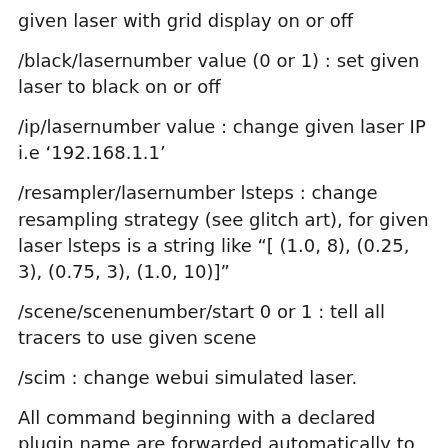given laser with grid display on or off
/black/lasernumber value (0 or 1) : set given laser to black on or off
/ip/lasernumber value : change given laser IP i.e ‘192.168.1.1’
/resampler/lasernumber lsteps : change resampling strategy (see glitch art), for given laser lsteps is a string like “[ (1.0, 8), (0.25, 3), (0.75, 3), (1.0, 10)]”
/scene/scenenumber/start 0 or 1 : tell all tracers to use given scene
/scim : change webui simulated laser.
All command beginning with a declared plugin name are forwarded automatically to given plugin : “/nozoid whatever” will be forwarded to nozoid client